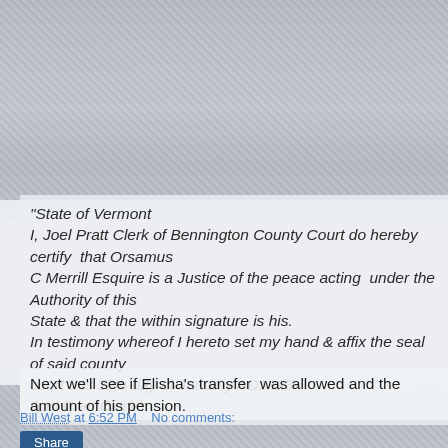[Figure (photo): Black and white group photo of many people used as a background behind the document text]
"State of Vermont
I, Joel Pratt Clerk of Bennington County Court do hereby certify  that Orsamus
C Merrill Esquire is a Justice of the peace acting  under the Authority of this
State & that the within signature is his.
In testimony whereof I hereto set my hand & affix the seal of said county
court this 28th day of January AD1823-
Joel Pratt Clerk"
Next we'll see if Elisha's transfer  was allowed and the amount of his pension.
Bill West at 6:52 PM    No comments: